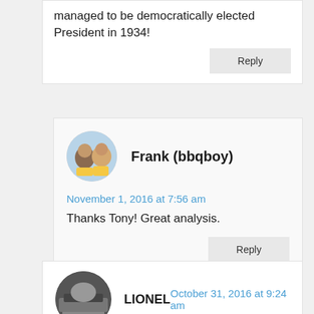managed to be democratically elected President in 1934!
Reply
Frank (bbqboy)
November 1, 2016 at 7:56 am
Thanks Tony! Great analysis.
Reply
LIONEL
October 31, 2016 at 9:24 am